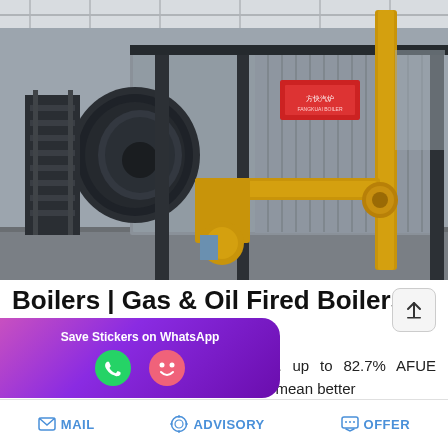[Figure (photo): Industrial gas and oil fired boiler in a factory/warehouse setting. Large rectangular silver/metallic boiler unit with black cylindrical burner on the left side, yellow pipework and connections, metal scaffolding and stairs on the left, high ceiling industrial building with natural lighting.]
Boilers | Gas & Oil Fired Boilers | Lennox Residential
up to 85.2% AFUE oil/water boilers. up to 82.7% AFUE gas/steam boilers. Innovative materials mean better builds boilers to stand the test of 'll find components like cast-iro...
[Figure (screenshot): WhatsApp sticker save overlay with purple/pink gradient background showing 'Save Stickers on WhatsApp' text and two emoji icons: green phone icon and pink face icon.]
MAIL    ADVISORY    OFFER